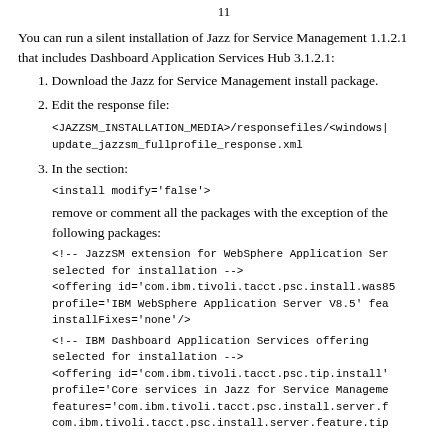11
You can run a silent installation of Jazz for Service Management 1.1.2.1 that includes Dashboard Application Services Hub 3.1.2.1:
1. Download the Jazz for Service Management install package.
2. Edit the response file:
<JAZZSM_INSTALLATION_MEDIA>/responsefiles/<windows|
update_jazzsm_fullprofile_response.xml
3. In the section:
<install modify='false'>
remove or comment all the packages with the exception of the following packages:
<!-- JazzSM extension for WebSphere Application Ser
selected for installation -->
<offering id='com.ibm.tivoli.tacct.psc.install.was85
profile='IBM WebSphere Application Server V8.5' fea
installFixes='none'/>
<!-- IBM Dashboard Application Services offering
selected for installation -->
<offering id='com.ibm.tivoli.tacct.psc.tip.install'
profile='Core services in Jazz for Service Manageme
features='com.ibm.tivoli.tacct.psc.install.server.f
com.ibm.tivoli.tacct.psc.install.server.feature.tip